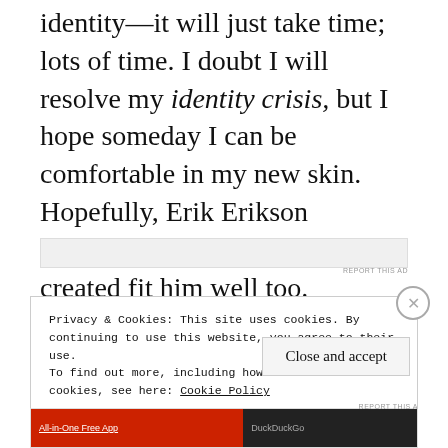identity—it will just take time; lots of time. I doubt I will resolve my identity crisis, but I hope someday I can be comfortable in my new skin. Hopefully, Erik Erikson eventually felt the identity he created fit him well too.
Privacy & Cookies: This site uses cookies. By continuing to use this website, you agree to their use. To find out more, including how to control cookies, see here: Cookie Policy
Close and accept